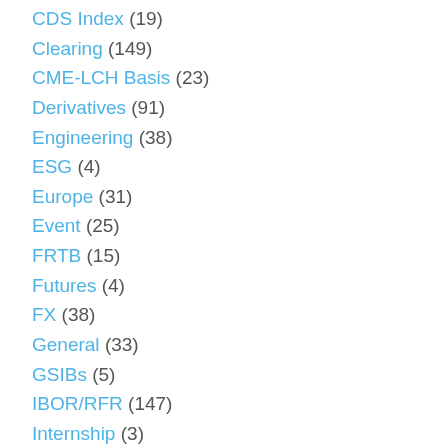CDS Index (19)
Clearing (149)
CME-LCH Basis (23)
Derivatives (91)
Engineering (38)
ESG (4)
Europe (31)
Event (25)
FRTB (15)
Futures (4)
FX (38)
General (33)
GSIBs (5)
IBOR/RFR (147)
Internship (3)